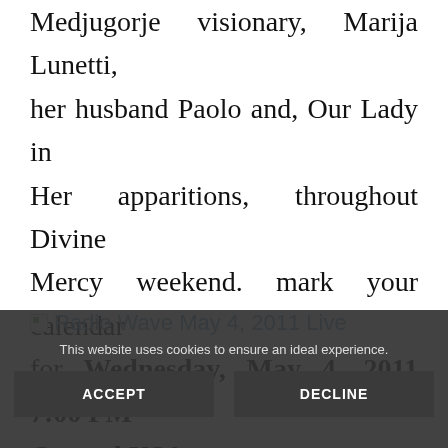Medjugorje visionary, Marija Lunetti, her husband Paolo and, Our Lady in Her apparitions, throughout Divine Mercy weekend. mark your calendar for Wednesday, May 4, 2011 7:00 PM Central USA.
Radio Wave May 4, 2011 Live
This website uses cookies to ensure an ideal experience.
ACCEPT
DECLINE